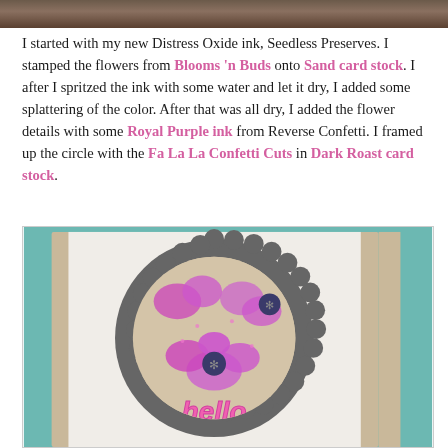[Figure (photo): Partial view of a crafting photo at the top of the page, cropped]
I started with my new Distress Oxide ink, Seedless Preserves. I stamped the flowers from Blooms 'n Buds onto Sand card stock. I after I spritzed the ink with some water and let it dry, I added some splattering of the color. After that was all dry, I added the flower details with some Royal Purple ink from Reverse Confetti. I framed up the circle with the Fa La La Confetti Cuts in Dark Roast card stock.
[Figure (photo): A handmade greeting card featuring a scalloped dark gray circular die-cut frame on a white/sand card stock background, showing stamped purple and pink flowers with dark navy centers, and a pink glittery 'hello' word die-cut at the bottom of the circle. Teal background elements visible on the sides.]